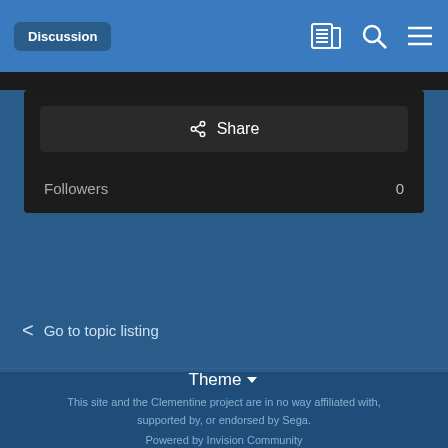Discussion
Share
Followers  0
< Go to topic listing
Theme ▾
This site and the Clementine project are in no way affiliated with, supported by, or endorsed by Sega. Powered by Invision Community